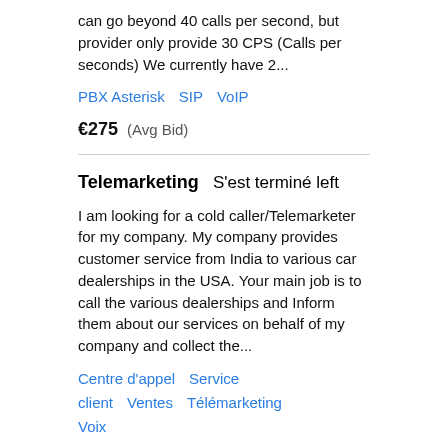can go beyond 40 calls per second, but provider only provide 30 CPS (Calls per seconds) We currently have 2...
PBX Asterisk   SIP   VoIP
€275  (Avg Bid)
Telemarketing  S&#039;est terminé left
I am looking for a cold caller/Telemarketer for my company. My company provides customer service from India to various car dealerships in the USA. Your main job is to call the various dealerships and Inform them about our services on behalf of my company and collect the...
Centre d'appel   Service client   Ventes   Télémarketing   Voix
€12  (Avg Bid)
NEED: German speaking CALL AGENT / Call